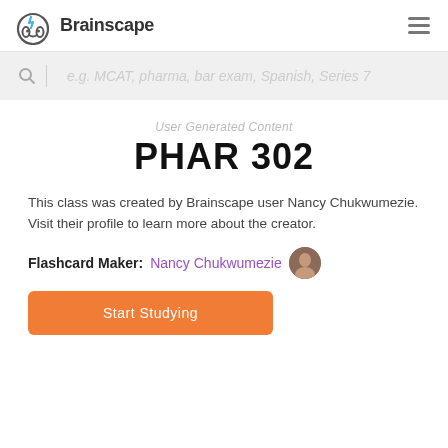[Figure (logo): Brainscape logo with cartoon face icon and text 'Brainscape']
e.g. MCAT, pharma, bar exam, Spanish, Series 7
User Generated Content
PHAR 302
This class was created by Brainscape user Nancy Chukwumezie. Visit their profile to learn more about the creator.
Flashcard Maker:  Nancy Chukwumezie
Start Studying